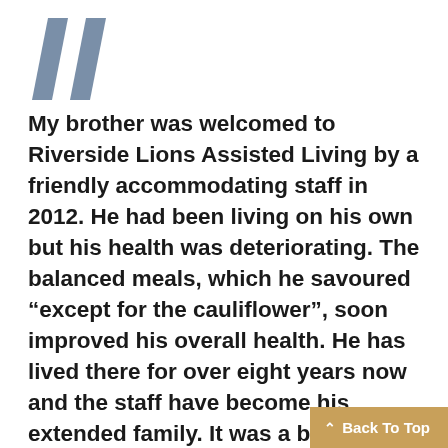[Figure (illustration): Large decorative double quotation mark in steel blue/slate color]
My brother was welcomed to Riverside Lions Assisted Living by a friendly accommodating staff in 2012. He had been living on his own but his health was deteriorating. The balanced meals, which he savoured “except for the cauliflower”, soon improved his overall health. He has lived there for over eight years now and the staff have become his extended family. It was a blessing that he was there during this past year so he had daily attention even during the total lockdown phase. He thorough the recreational daily activiti
[Figure (other): Back To Top button with golden/tan background and upward arrow]